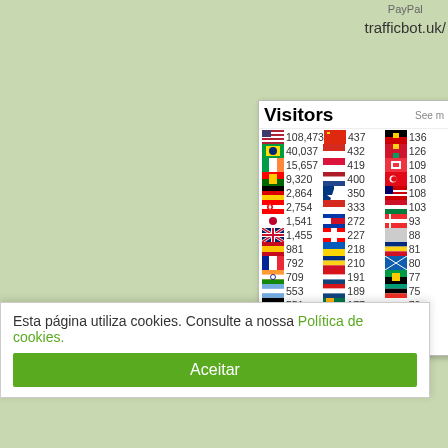PayPal
trafficbot.uk/
[Figure (table-as-image): Visitors widget showing country flags and visitor counts. Columns: US 108,473 | China 437 | Angola 136; Brazil 40,037 | Russia 432 | Venezuela 126; Ireland 15,657 | Poland 419 | Singapore 109; Portugal 9,320 | Netherlands 400 | Turkey 108; Germany 2,864 | Finland 350 | Malaysia 108; Canada 2,754 | Russia 333 | Indonesia 103; Japan 1,541 | Philippines 272 | Norway 93; UK 1,455 | Switzerland 227 | (country) 88; Spain 981 | Ukraine 218 | (country) 81; France 792 | Romania 210 | Greece 80; India 709 | Sweden 191 | Mozambique 77; Argentina 553 | Czech Republic 189 | New Zealand 75; Belgium 551 | South Africa 177 | Uruguay 70; Australia 533 | Chile 169 | (country) 70; South Korea 529 | Austria 145 | Pakistan 69; Mexico/Italy 499 | Mexico 143 | Ecuador 67]
Esta página utiliza cookies. Consulte a nossa Política de cookies.
Aceitar